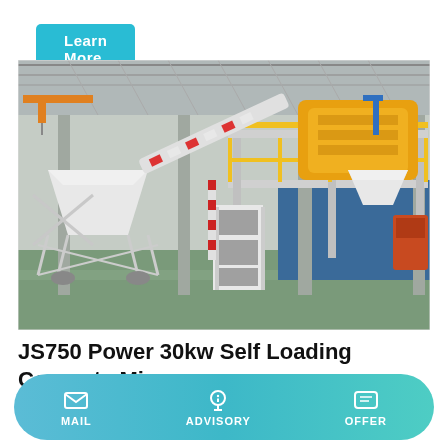Learn More
[Figure (photo): Industrial concrete mixer machine (JS750, self-loading) photographed inside a large factory/warehouse. The machine is white with yellow components on an elevated platform, with a conveyor belt feeding aggregate from a ground-level hopper up to the mixer drum. The factory has a green floor and blue walls in the background.]
JS750 Power 30kw Self Loading Concrete Mixer
MAIL
ADVISORY
OFFER